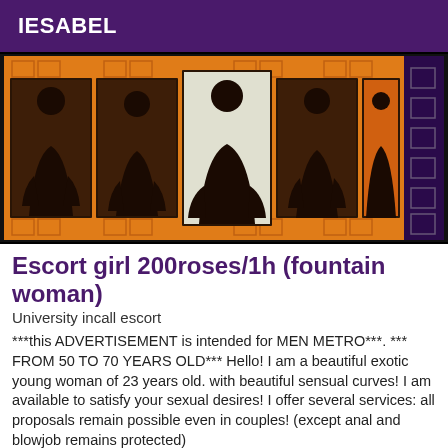IESABEL
[Figure (photo): Collage of photos of a woman in orange-themed background with decorative square patterns]
Escort girl 200roses/1h (fountain woman)
University incall escort
***this ADVERTISEMENT is intended for MEN METRO***. *** FROM 50 TO 70 YEARS OLD*** Hello! I am a beautiful exotic young woman of 23 years old. with beautiful sensual curves! I am available to satisfy your sexual desires! I offer several services: all proposals remain possible even in couples! (except anal and blowjob remains protected)